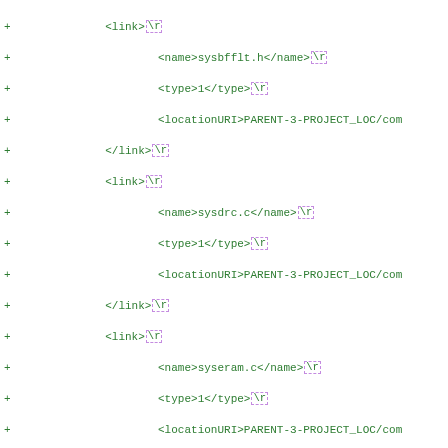Diff/patch code listing showing XML link elements with name, type, locationURI child elements for sysbfflt.h, sysdrc.c, syseram.c, syseram.h, sysiram.c, sysiram.h, sysmss.c